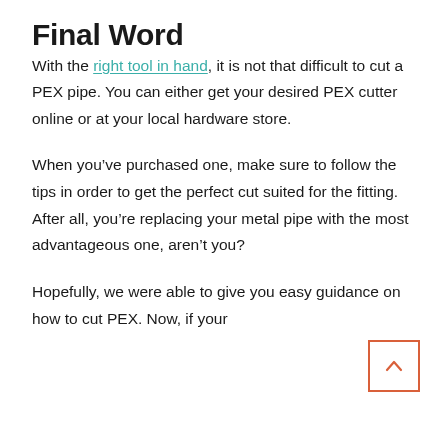Final Word
With the right tool in hand, it is not that difficult to cut a PEX pipe. You can either get your desired PEX cutter online or at your local hardware store.
When you’ve purchased one, make sure to follow the tips in order to get the perfect cut suited for the fitting. After all, you’re replacing your metal pipe with the most advantageous one, aren’t you?
Hopefully, we were able to give you easy guidance on how to cut PEX. Now, if your